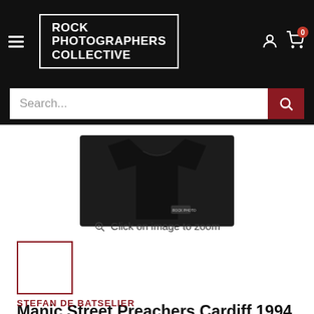Rock Photographers Collective
[Figure (screenshot): Website navigation header with hamburger menu, Rock Photographers Collective logo in white on black, user account icon, and cart icon with badge showing 0]
[Figure (screenshot): Search bar with placeholder text 'Search...' and dark red search button with magnifying glass icon]
[Figure (photo): Product photo of a black t-shirt with Rock Photographers Collective label, cropped to show collar/shoulder area]
Click on image to zoom
[Figure (thumbnail): Thumbnail image of the product with dark red border indicator showing active selection]
Manic Street Preachers Cardiff 1994 Kids' T-Shirt
STEFAN DE BATSELIER